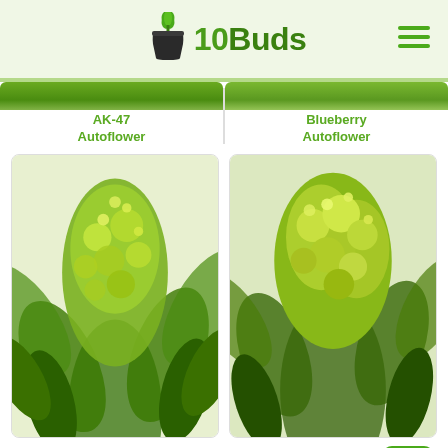[Figure (logo): 10Buds logo with cannabis leaf and pot icon, green color scheme, hamburger menu icon top right]
[Figure (photo): Partial photo of AK-47 Autoflower cannabis plant bud at top left]
AK-47
Autoflower
[Figure (photo): Partial photo of Blueberry Autoflower cannabis plant bud at top right]
Blueberry
Autoflower
[Figure (photo): Close-up photo of Cheese Autoflower cannabis plant bud with green leaves]
Cheese
Autoflower
[Figure (photo): Close-up photo of Amnesia Haze Autoflower cannabis plant bud with green leaves]
Amnesia Haze
Autoflower